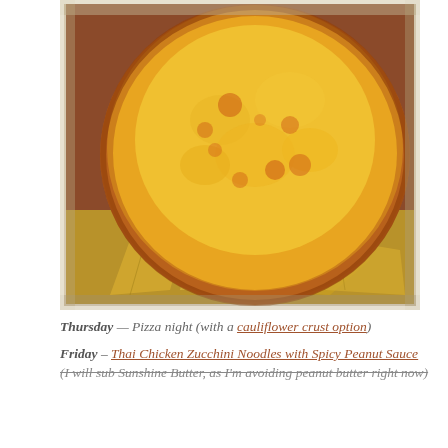[Figure (photo): A round cheese pizza on aluminum foil on a baking pan, with golden-brown melted cheese and a slightly charred crust, photographed with a vintage/Instagram-style filter.]
Thursday — Pizza night (with a cauliflower crust option)
Friday – Thai Chicken Zucchini Noodles with Spicy Peanut Sauce (I will sub Sunshine Butter, as I'm avoiding peanut butter right now)